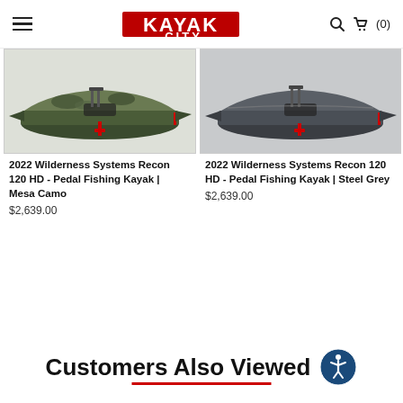Kayak City - navigation header with hamburger menu, logo, search and cart (0)
[Figure (photo): 2022 Wilderness Systems Recon 120 HD pedal fishing kayak in Mesa Camo colorway, side profile view showing pedal drive and seat]
2022 Wilderness Systems Recon 120 HD - Pedal Fishing Kayak | Mesa Camo
$2,639.00
[Figure (photo): 2022 Wilderness Systems Recon 120 HD pedal fishing kayak in Steel Grey colorway, side profile view showing pedal drive and seat]
2022 Wilderness Systems Recon 120 HD - Pedal Fishing Kayak | Steel Grey
$2,639.00
Customers Also Viewed